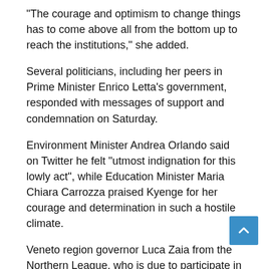"The courage and optimism to change things has to come above all from the bottom up to reach the institutions," she added.
Several politicians, including her peers in Prime Minister Enrico Letta's government, responded with messages of support and condemnation on Saturday.
Environment Minister Andrea Orlando said on Twitter he felt "utmost indignation for this lowly act", while Education Minister Maria Chiara Carrozza praised Kyenge for her courage and determination in such a hostile climate.
Veneto region governor Luca Zaia from the Northern League, who is due to participate in an immigration debate with Kyenge in August, also spoke out against the incident on Saturday.
"Throwing bananas, personal insults ... acts like these pla part in the civilized and democratic discussion needed between the minister and those who don't share her opinion," the ANSA